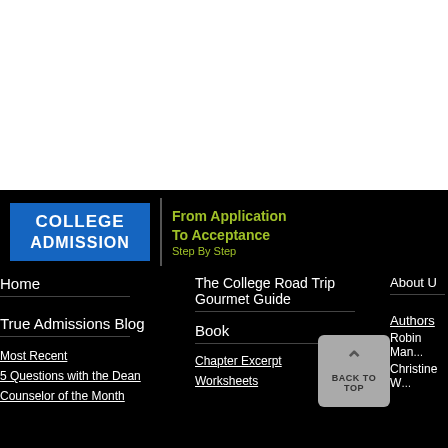[Figure (logo): College Admission logo with blue box and tagline 'From Application To Acceptance Step By Step' in green]
Home
The College Road Trip Gourmet Guide
About U
True Admissions Blog
Book
Authors
Robin Man
Christine W
Most Recent
Chapter Excerpt
5 Questions with the Dean
Worksheets
Counselor of the Month
[Figure (other): Back to top button with upward arrow and text BACK TO TOP]